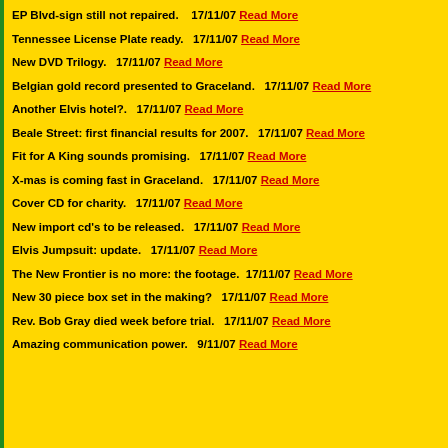EP Blvd-sign still not repaired.   17/11/07 Read More
Tennessee License Plate ready.   17/11/07 Read More
New DVD Trilogy.   17/11/07 Read More
Belgian gold record presented to Graceland.   17/11/07 Read More
Another Elvis hotel?.   17/11/07 Read More
Beale Street: first financial results for 2007.   17/11/07 Read More
Fit for A King sounds promising.   17/11/07 Read More
X-mas is coming fast in Graceland.   17/11/07 Read More
Cover CD for charity.   17/11/07 Read More
New import cd's to be released.   17/11/07 Read More
Elvis Jumpsuit: update.   17/11/07 Read More
The New Frontier is no more: the footage.  17/11/07 Read More
New 30 piece box set in the making?   17/11/07 Read More
Rev. Bob Gray died week before trial.   17/11/07 Read More
Amazing communication power.   9/11/07 Read More